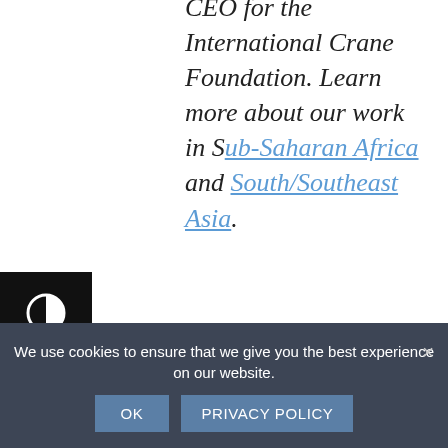CEO for the International Crane Foundation. Learn more about our work in Sub-Saharan Africa and South/Southeast Asia.
Published February 2, 2016
By Sara
We use cookies to ensure that we give you the best experience on our website.